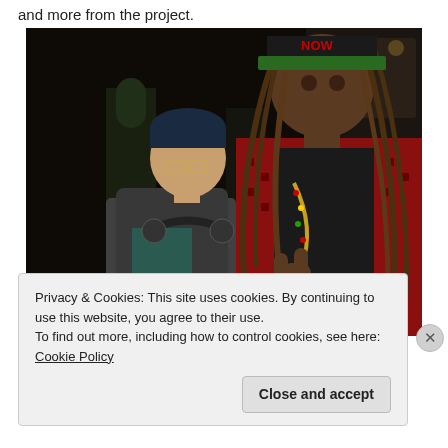and more from the project.
[Figure (photo): Two people posing together indoors in a dark venue. On the left is a shorter person wearing a dark hoodie, glasses, and headphones around their neck. On the right is a taller person wearing a red patterned jacket, a black vest, dreadlocks, beads, and a green and black snapback cap with 'NOW' written on it. The taller person is making a hand gesture.]
Privacy & Cookies: This site uses cookies. By continuing to use this website, you agree to their use.
To find out more, including how to control cookies, see here: Cookie Policy
Close and accept